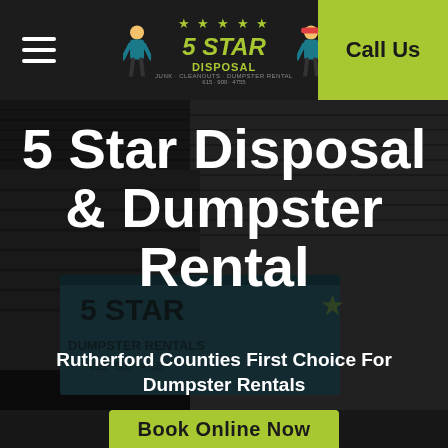5 Star Disposal — Navigation bar with hamburger menu, logo, and Call Us button
[Figure (screenshot): Dark background photo of a building with corrugated metal siding and a 5 Star Disposal dumpster parked in front, used as hero image backdrop]
5 Star Disposal & Dumpster Rental
Rutherford Counties First Choice For Dumpster Rentals
Book Online Now